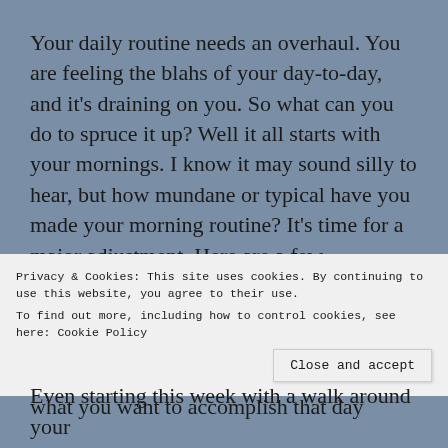Your daily routine needs an overhaul.  You are feeling the blahs of your day-to-day, and it's draining on you.  So what can you do to spruce it up?  Well it all starts with your mornings.  I know it may sound silly to hear, but how mundane or typical have you made your morning routine?  It's time for a major adjustment.  Here are a few suggestions that I hope you take into practice.  Write some journal pages each morning right after you wake up, either chronicling your dreams or focusing on what you want to accomplish that day
Privacy & Cookies: This site uses cookies. By continuing to use this website, you agree to their use.
To find out more, including how to control cookies, see here: Cookie Policy
Close and accept
Even starting this week with a walk around your